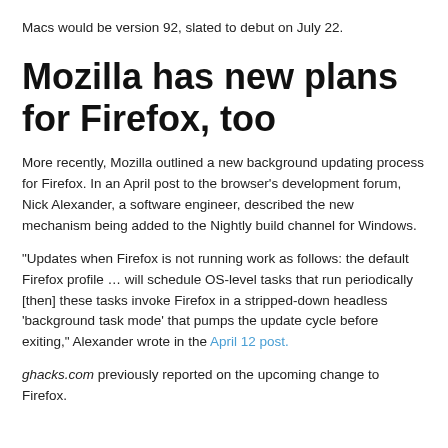Macs would be version 92, slated to debut on July 22.
Mozilla has new plans for Firefox, too
More recently, Mozilla outlined a new background updating process for Firefox. In an April post to the browser's development forum, Nick Alexander, a software engineer, described the new mechanism being added to the Nightly build channel for Windows.
“Updates when Firefox is not running work as follows: the default Firefox profile … will schedule OS-level tasks that run periodically [then] these tasks invoke Firefox in a stripped-down headless ‘background task mode’ that pumps the update cycle before exiting,” Alexander wrote in the April 12 post.
ghacks.com previously reported on the upcoming change to Firefox.